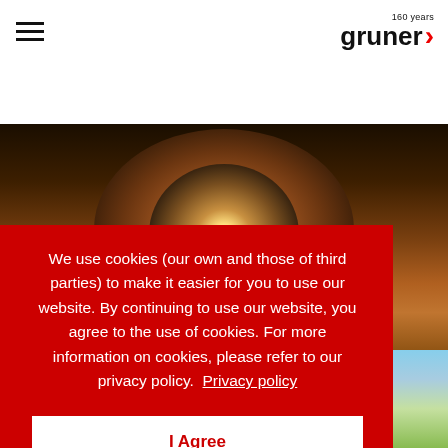[Figure (logo): Gruner company logo with '160 years' text and red arrow chevron]
[Figure (photo): Tunnel interior with warm orange brick walls and lights visible at the end of the tunnel]
We use cookies (our own and those of third parties) to make it easier for you to use our website. By continuing to use our website, you agree to the use of cookies. For more information on cookies, please refer to our privacy policy. Privacy policy
I Agree
[Figure (photo): Outdoor scene with blue sky and green trees, partial road or highway infrastructure visible]